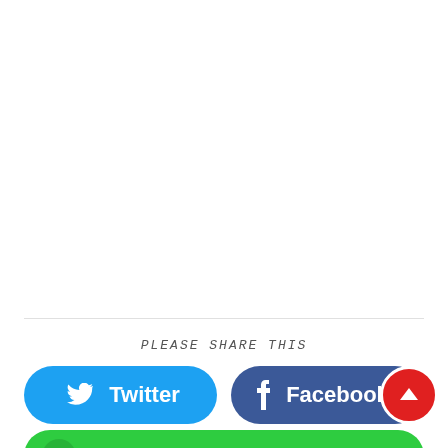PLEASE SHARE THIS
[Figure (other): Twitter share button (cyan/blue rounded pill) with Twitter bird icon and 'Twitter' label in white bold text]
[Figure (other): Facebook share button (dark navy rounded pill) with 'f' icon and 'Facebook' label in white bold text, with a red circle containing an up-arrow icon on the right]
[Figure (other): Green rounded share button (partially visible at bottom), with a small circle icon on the left]